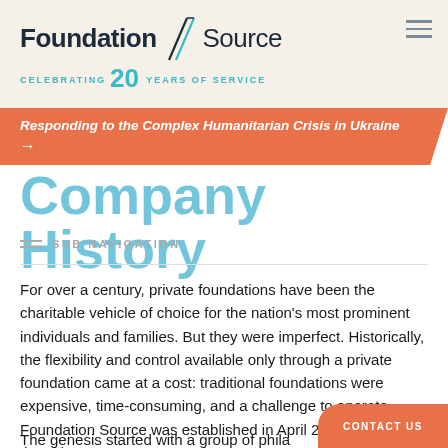[Figure (logo): Foundation Source logo with diagonal slash lines and '20 Years of Service' celebrating text in teal. Foundation in bold dark, Source in regular dark.]
Responding to the Complex Humanitarian Crisis in Ukraine →
Company History
SUB NAVIGATION
For over a century, private foundations have been the charitable vehicle of choice for the nation's most prominent individuals and families. But they were imperfect. Historically, the flexibility and control available only through a private foundation came at a cost: traditional foundations were expensive, time-consuming, and a challenge to operate. Foundation Source was established in April 2000 to solve these issues.
The genesis started with a group of phila…
CONTACT US